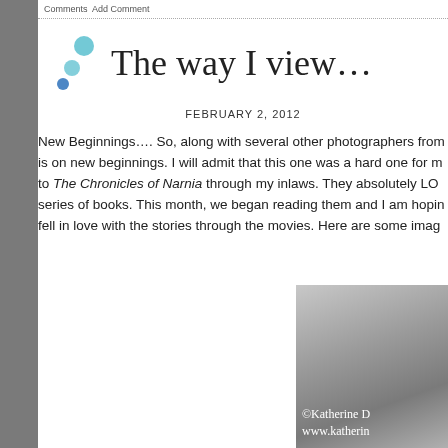Comments  Add Comment
The way I view…
FEBRUARY 2, 2012
New Beginnings…. So, along with several other photographers from is on new beginnings. I will admit that this one was a hard one for m to The Chronicles of Narnia through my inlaws. They absolutely LO series of books. This month, we began reading them and I am hopin fell in love with the stories through the movies. Here are some imag
[Figure (photo): Black and white textured photo with copyright watermark reading '©Katherine D' and 'www.katherin']